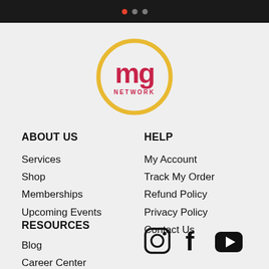Top navigation bar with colored dots
[Figure (logo): MG Network logo: circular yellow ring with 'mg' in pink/crimson and 'NETWORK' text below in small caps]
ABOUT US
Services
Shop
Memberships
Upcoming Events
HELP
My Account
Track My Order
Refund Policy
Privacy Policy
Contact Us
RESOURCES
Blog
Career Center
News & Press
Media Kit
[Figure (illustration): Social media icons: Instagram, Facebook, YouTube]